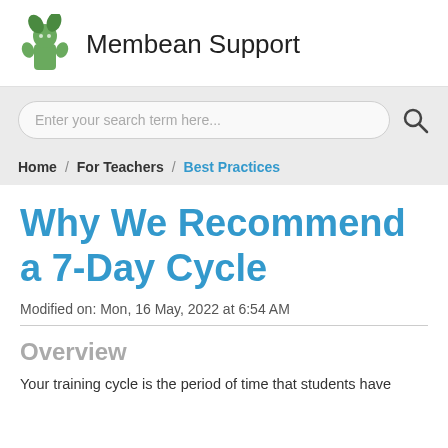Membean Support
Enter your search term here...
Home / For Teachers / Best Practices
Why We Recommend a 7-Day Cycle
Modified on: Mon, 16 May, 2022 at 6:54 AM
Overview
Your training cycle is the period of time that students have